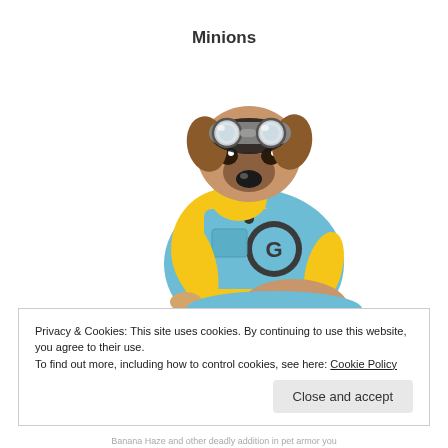Minions
[Figure (photo): A pug dog dressed in a Minion costume with yellow hoodie, blue overalls with a Gru logo, and Minion goggles on its head.]
Privacy & Cookies: This site uses cookies. By continuing to use this website, you agree to their use.
To find out more, including how to control cookies, see here: Cookie Policy
Close and accept
Banana Haze and other deadly addition in pet armor you